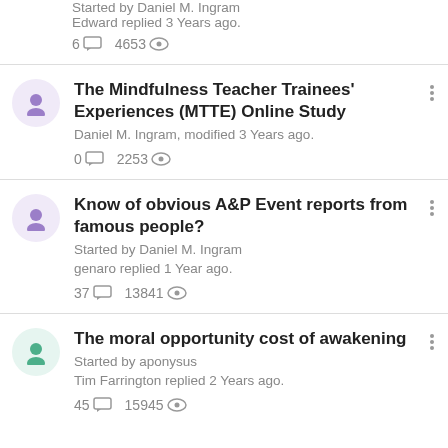Started by Daniel M. Ingram
Edward replied 3 Years ago.
6 comments  4653 views
The Mindfulness Teacher Trainees' Experiences (MTTE) Online Study
Daniel M. Ingram, modified 3 Years ago.
0 comments  2253 views
Know of obvious A&P Event reports from famous people?
Started by Daniel M. Ingram
genaro replied 1 Year ago.
37 comments  13841 views
The moral opportunity cost of awakening
Started by aponysus
Tim Farrington replied 2 Years ago.
45 comments  15945 views